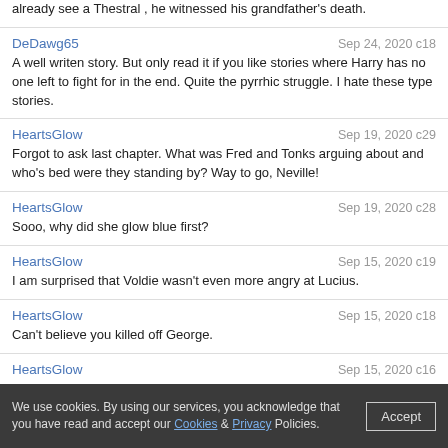already see a Thestral , he witnessed his grandfather's death.
A well writen story. But only read it if you like stories where Harry has no one left to fight for in the end. Quite the pyrrhic struggle. I hate these type stories.
Forgot to ask last chapter. What was Fred and Tonks arguing about and who's bed were they standing by? Way to go, Neville!
Sooo, why did she glow blue first?
I am surprised that Voldie wasn't even more angry at Lucius.
Can't believe you killed off George.
YES! Yay, Percy!
SEPTIMA Vector is the Arithmancy professor. Would your Charles Vector be her brother or husband? What class does he teach? This chapter was great.
We use cookies. By using our services, you acknowledge that you have read and accept our Cookies & Privacy Policies.